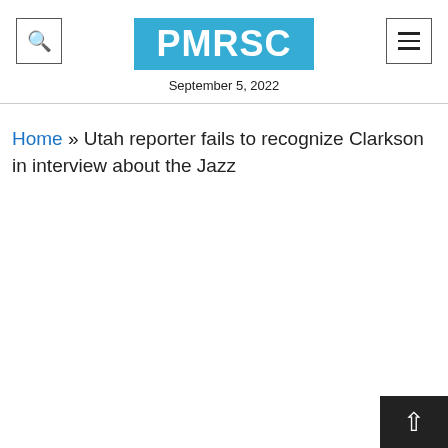PMRSC
September 5, 2022
Home » Utah reporter fails to recognize Clarkson in interview about the Jazz